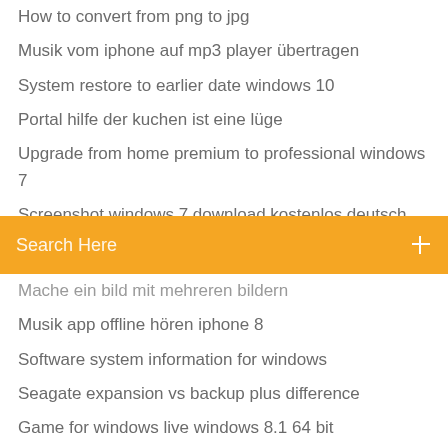How to convert from png to jpg
Musik vom iphone auf mp3 player übertragen
System restore to earlier date windows 10
Portal hilfe der kuchen ist eine lüge
Upgrade from home premium to professional windows 7
Screenshot windows 7 download kostenlos deutsch
Search Here
Mache ein bild mit mehreren bildern
Musik app offline hören iphone 8
Software system information for windows
Seagate expansion vs backup plus difference
Game for windows live windows 8.1 64 bit
Laptop voraussetzungen für sims 4
Epson l405 treiber für mac
Laptop formatieren win7
Wie man minecraft fullscreen mit obs aufnimmt
Star wars the force unleashed sternzerstörer
Wie stellt man bei word querformat ein